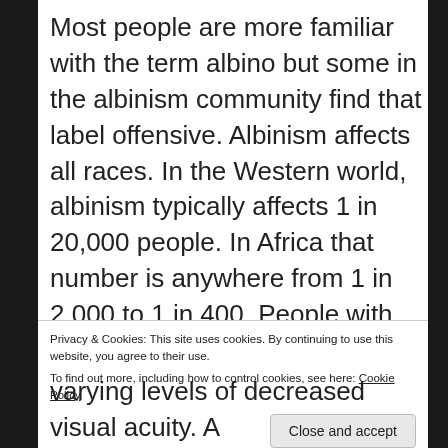Most people are more familiar with the term albino but some in the albinism community find that label offensive. Albinism affects all races. In the Western world, albinism typically affects 1 in 20,000 people. In Africa that number is anywhere from 1 in 2,000 to 1 in 400. People with albinism are born with decreased pigment in their skin, hair and eyes (oculocutaneous albinism OCA) or
Privacy & Cookies: This site uses cookies. By continuing to use this website, you agree to their use.
To find out more, including how to control cookies, see here: Cookie Policy
varying levels of decreased visual acuity. A